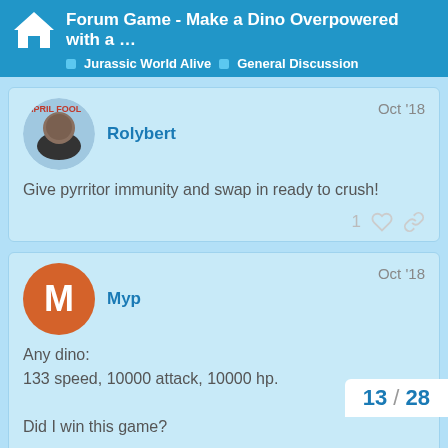Forum Game - Make a Dino Overpowered with a ... | Jurassic World Alive | General Discussion
Rolybert
Oct '18
Give pyrritor immunity and swap in ready to crush!
Myp
Oct '18
Any dino:
133 speed, 10000 attack, 10000 hp.

Did I win this game?
13 / 28